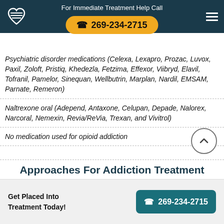For Immediate Treatment Help Call 269-234-2715
Psychiatric disorder medications (Celexa, Lexapro, Prozac, Luvox, Paxil, Zoloft, Pristiq, Khedezla, Fetzima, Effexor, Viibryd, Elavil, Tofranil, Pamelor, Sinequan, Wellbutrin, Marplan, Nardil, EMSAM, Parnate, Remeron)
Naltrexone oral (Adepend, Antaxone, Celupan, Depade, Nalorex, Narcoral, Nemexin, Revia/ReVia, Trexan, and Vivitrol)
No medication used for opioid addiction
Approaches For Addiction Treatment
Get Placed Into Treatment Today! 269-234-2715